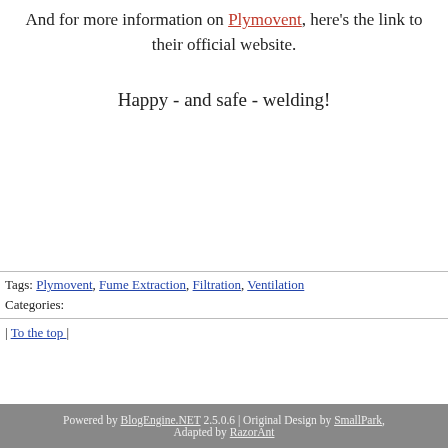And for more information on Plymovent, here's the link to their official website.
Happy - and safe - welding!
Tags: Plymovent, Fume Extraction, Filtration, Ventilation
Categories:
| To the top |
Powered by BlogEngine.NET 2.5.0.6 | Original Design by SmallPark, Adapted by RazorAnt